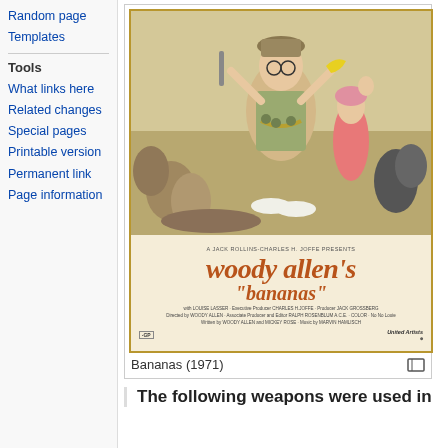Random page
Templates
Tools
What links here
Related changes
Special pages
Printable version
Permanent link
Page information
[Figure (photo): Movie poster for Woody Allen's Bananas (1971), showing cartoon-style illustrated characters including Woody Allen in military gear holding a rifle and banana, surrounded by other figures in a chaotic scene. Bottom section shows title text in orange-red italic font: woody allen's "bananas"]
Bananas (1971)
The following weapons were used in